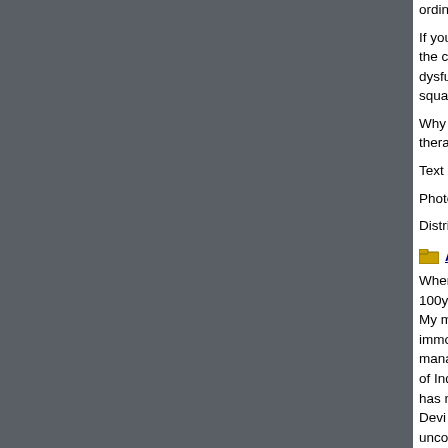ordinary and anthropocentric vision.
If you enter in the Emilian countryside, near the A1 motorw... the collective work of FX. The authors reveal how they cho... dysfunctional realities through a positive visual message. In... squandering of public funds at the expense of culture and n...
Why putting yourself at risk of harsh economic sanctions, w... therapeutic.i¿½
Text by Davide Picatto (http://davidepicatto.wordpress.com...)
Photos by Chiara Ceolin (www.chiaraceolin.com)
Distributed by Emblema (www.emblema.net)
A tribute to my 100 year Old Grandmother | Ro...
Whenever in India we take blessing from our elders a comm... 100yearsi¿½. My maternal Grandmother Dhaniya Devi fondly called as N... immortality. I guess. Born and bought up in an orthodox fa... managed to learn a little from every opportunity that came t... of India with a decent living. Married at an early age and a s... has never lost hopes. Fought with all the hurdles and stooo... Devi a symbol of power and women as profound love has b... unconditionally for love of her children and protects them fr... care in return. My Nani, at this time is in age of fragile. Having seen 3 gen... bedridden. A powerful lady like her now sleeps like a baby.... diminishing. Is it not the irony to see my strongest nani, wh... people to attend to her slightest need. Is it not an irony for h...
Photo documentary by Rohit Gautam
Assam Riots | Pregnant and Displaced (12)
Late July 2012, Bodoland (BTAD) went up in flames during... Bengali Muslims. This resulted in 95 reported dead and ar... camps at Kokrajhar, Chirang and Dhubri districts.
Internally Displaced People present the most compelling cr... community today. Each year the number of countries repor... children bearing the brunt. Within the women the m...